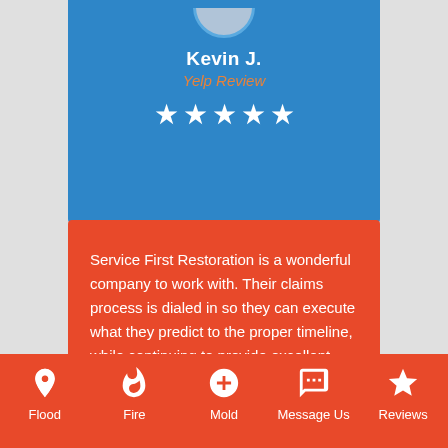Kevin J.
Yelp Review
[Figure (other): Five white star rating icons]
Service First Restoration is a wonderful company to work with. Their claims process is dialed in so they can execute what they predict to the proper timeline, while continuing to provide excellent communication throughout the restoration process. Christian, Nick and Devin are all a pleasure to work with.
Flood | Fire | Mold | Message Us | Reviews